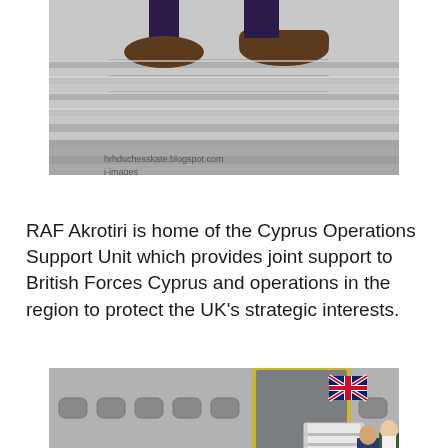[Figure (photo): Close-up photo of feet/shoes on aircraft stairs, partial view of person descending steps. Watermark text visible: hrhduchesskate.blogspot.com and i-images]
RAF Akrotiri is home of the Cyprus Operations Support Unit which provides joint support to British Forces Cyprus and operations in the region to protect the UK's strategic interests.
[Figure (photo): Two people (a woman in green jacket and dark trousers, and a man in blue suit) descending stairs from a Royal Air Force aircraft at RAF Akrotiri. A Union Jack flag is visible on the aircraft fuselage. The stairs read 'ROYAL AIR FORCE AKROTIRI'.]